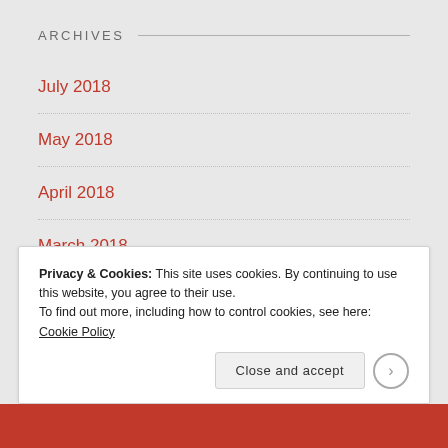ARCHIVES
July 2018
May 2018
April 2018
March 2018
January 2018
Privacy & Cookies: This site uses cookies. By continuing to use this website, you agree to their use.
To find out more, including how to control cookies, see here: Cookie Policy
Close and accept